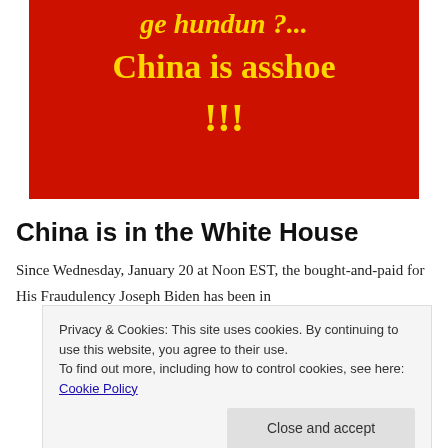[Figure (other): Red banner with yellow bold italic text reading 'ge hundun ?...' on top, 'China is asshoe' in middle, and '!!!' below, on a red background]
China is in the White House
Since Wednesday, January 20 at Noon EST, the bought-and-paid for His Fraudulency Joseph Biden has been in
Privacy & Cookies: This site uses cookies. By continuing to use this website, you agree to their use.
To find out more, including how to control cookies, see here: Cookie Policy
Close and accept